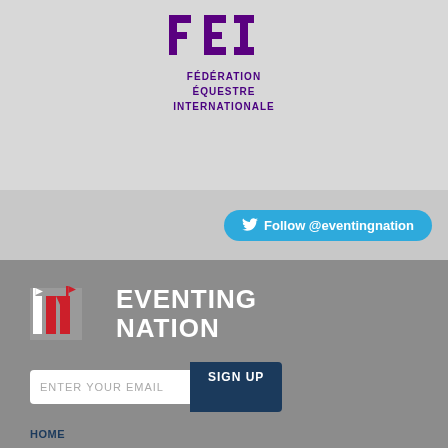[Figure (logo): FEI (Fédération Équestre Internationale) logo - purple letters FEI at top, with text below]
FÉDÉRATION
ÉQUESTRE
INTERNATIONALE
Follow @eventingnation
[Figure (logo): Eventing Nation logo - EN letters with flag icons, white and red on gray background]
EVENTING NATION
ENTER YOUR EMAIL
SIGN UP
HOME
EN'S ULTIMATE GUIDE TO #PRATONI2022
ABOUT